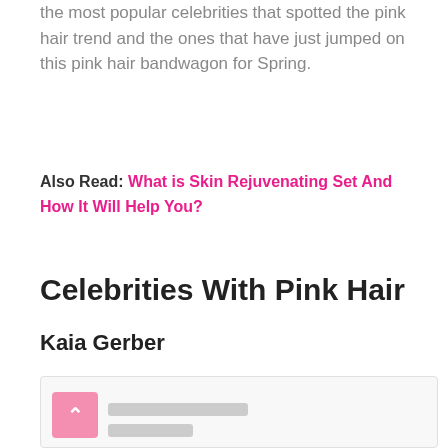the most popular celebrities that spotted the pink hair trend and the ones that have just jumped on this pink hair bandwagon for Spring.
Also Read: What is Skin Rejuvenating Set And How It Will Help You?
Celebrities With Pink Hair
Kaia Gerber
[Figure (screenshot): Partial screenshot of a social media post or embedded content with a pink back-to-top button and grey placeholder content lines]